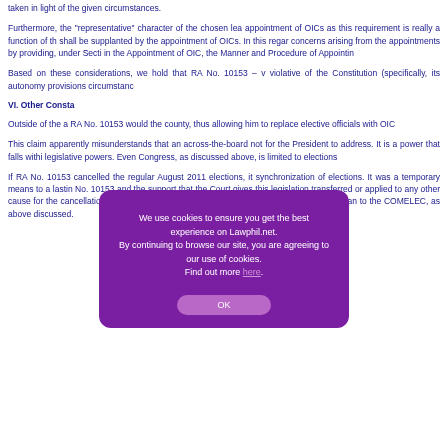taken in light of the given circumstances.
Furthermore, the "representative" character of the chosen lea appointment of OICs as this requirement is really a function of th shall be supplanted by the appointment of OICs. In this regar concerns arising from the appointments by providing, under Secti in the Appointment of OIC, the Manner and Procedure of Appointin
Based on these considerations, we hold that RA No. 10153 – v violative of the Constitution (specifically, its autonomy provisions circumstanc
VI. Other Consta
Outside of the a RA No. 10153 would the county, thus allowing him to replace elective officials with OIC
This claim apparently misunderstands that an across-the-board not for the President to address. It is a power that falls withi legislative powers. Even Congress, as discussed above, is limited to elections
If RA No. 10153 cancelled the regular August 2011 elections, it synchronization of elections. It was a temporary means to a lastin No. 10153 and the support that the Court gives this legislation transferred or applied to any other cause for the cancellation elections and call for special elections can occur only in accordan to the COMELEC, as above discussed.
[Figure (other): Cookie consent popup overlay with purple background, text: 'We use cookies to ensure you get the best experience on Lawphil.net. By continuing to browse our site, you are agreeing to our use of cookies. Find out more here.' and an OK button.]